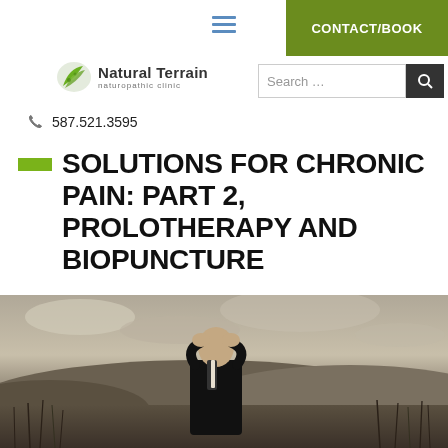Natural Terrain naturopathic clinic
CONTACT/BOOK
587.521.3595
SOLUTIONS FOR CHRONIC PAIN: PART 2, PROLOTHERAPY AND BIOPUNCTURE
[Figure (photo): Black and white / sepia photo of a man in a suit standing in a field holding his head with both hands, looking distressed. Overcast sky and tall grass in background.]